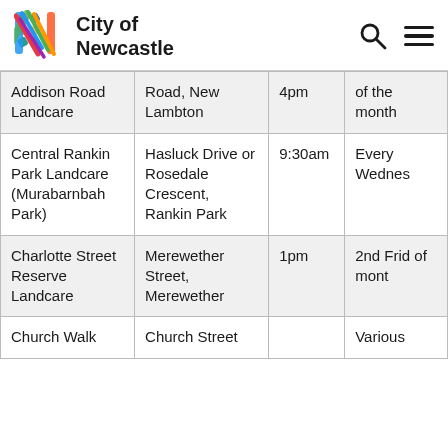City of Newcastle
| Group | Location | Time | Frequency |
| --- | --- | --- | --- |
| Addison Road Landcare | Road, New Lambton | 4pm | of the month |
| Central Rankin Park Landcare (Murabarnbah Park) | Hasluck Drive or Rosedale Crescent, Rankin Park | 9:30am | Every Wednes |
| Charlotte Street Reserve Landcare | Merewether Street, Merewether | 1pm | 2nd Friday of month |
| Church Walk | Church Street |  | Various |